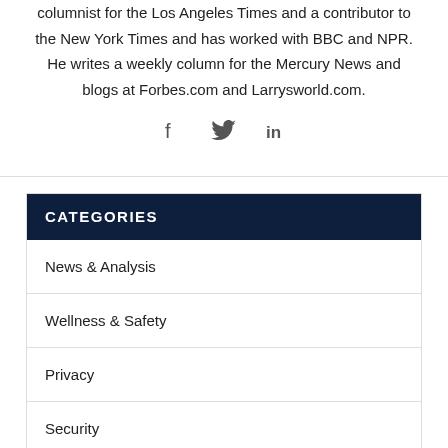columnist for the Los Angeles Times and a contributor to the New York Times and has worked with BBC and NPR. He writes a weekly column for the Mercury News and blogs at Forbes.com and Larrysworld.com.
[Figure (infographic): Social media icons: Facebook (f), Twitter (bird), LinkedIn (in)]
CATEGORIES
News & Analysis
Wellness & Safety
Privacy
Security
Social Media